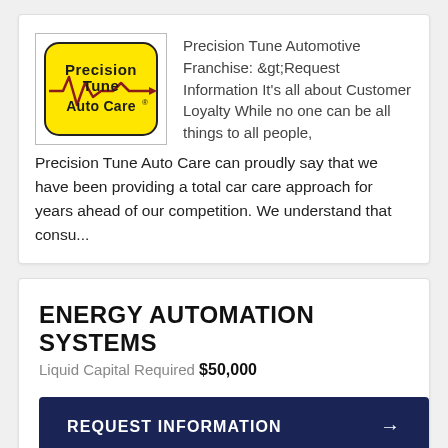[Figure (logo): Precision Tune Auto Care logo — yellow rounded rectangle background with bold black text 'Precision Tune Auto Care' and decorative arrow/heartbeat graphic]
Precision Tune Automotive Franchise: >Request Information It's all about Customer Loyalty While no one can be all things to all people, Precision Tune Auto Care can proudly say that we have been providing a total car care approach for years ahead of our competition. We understand that consu...
ENERGY AUTOMATION SYSTEMS
Liquid Capital Required $50,000
REQUEST INFORMATION →
[Figure (logo): Partially visible logo box at bottom of page]
About Us For more than three